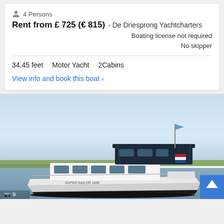4 Persons
Rent from £ 725 (€ 815) - De Driesprong Yachtcharters
Boating license not required
No skipper
34.45 feet   Motor Yacht   2Cabins
View info and book this boat ›
[Figure (photo): Motor yacht on a river/canal with flat green landscape in background, white hull with dark blue bimini/flybridge canopy, flying small flags, calm water, overcast blue sky. Camera icon with '9' visible in lower left corner. Blue scroll-to-top button in lower right.]